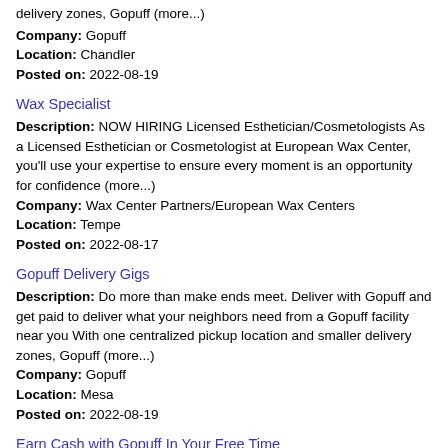delivery zones, Gopuff (more...)
Company: Gopuff
Location: Chandler
Posted on: 2022-08-19
Wax Specialist
Description: NOW HIRING Licensed Esthetician/Cosmetologists As a Licensed Esthetician or Cosmetologist at European Wax Center, you'll use your expertise to ensure every moment is an opportunity for confidence (more...)
Company: Wax Center Partners/European Wax Centers
Location: Tempe
Posted on: 2022-08-17
Gopuff Delivery Gigs
Description: Do more than make ends meet. Deliver with Gopuff and get paid to deliver what your neighbors need from a Gopuff facility near you With one centralized pickup location and smaller delivery zones, Gopuff (more...)
Company: Gopuff
Location: Mesa
Posted on: 2022-08-19
Earn Cash with Gopuff In Your Free Time
Description: Do more than make ends meet. Deliver with Gopuff and get paid to deliver what your neighbors need from a Gopuff facility near you With one centralized pickup location and smaller delivery zones, Gopuff (more...)